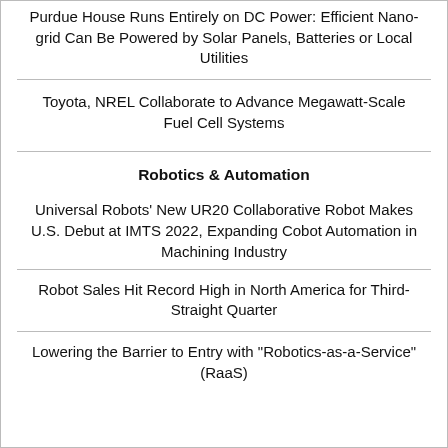Purdue House Runs Entirely on DC Power: Efficient Nano-grid Can Be Powered by Solar Panels, Batteries or Local Utilities
Toyota, NREL Collaborate to Advance Megawatt-Scale Fuel Cell Systems
Robotics & Automation
Universal Robots' New UR20 Collaborative Robot Makes U.S. Debut at IMTS 2022, Expanding Cobot Automation in Machining Industry
Robot Sales Hit Record High in North America for Third-Straight Quarter
Lowering the Barrier to Entry with "Robotics-as-a-Service" (RaaS)